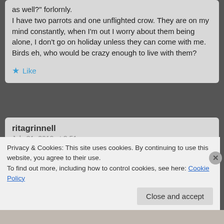as well?" forlornly.
I have two parrots and one unflighted crow. They are on my mind constantly, when I'm out I worry about them being alone, I don't go on holiday unless they can come with me.
Birds eh, who would be crazy enough to live with them?
★ Like
ritagrinnell
July 31, 2012 at 3:51 pm
I LOVE IT! I wish everyone knew this and would have
Privacy & Cookies: This site uses cookies. By continuing to use this website, you agree to their use.
To find out more, including how to control cookies, see here: Cookie Policy
Close and accept